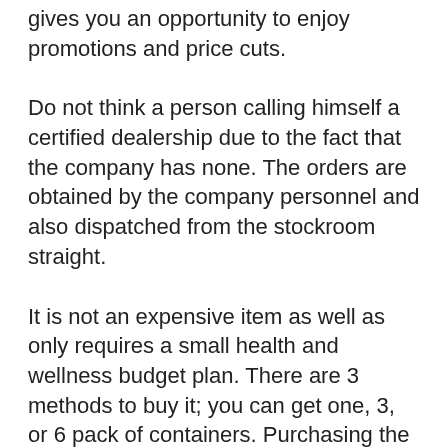gives you an opportunity to enjoy promotions and price cuts.
Do not think a person calling himself a certified dealership due to the fact that the company has none. The orders are obtained by the company personnel and also dispatched from the stockroom straight.
It is not an expensive item as well as only requires a small health and wellness budget plan. There are 3 methods to buy it; you can get one, 3, or 6 pack of containers. Purchasing the bundle packs saves even more money and also gives you much more bottles for a lesser price.
Below are the most updated product details...